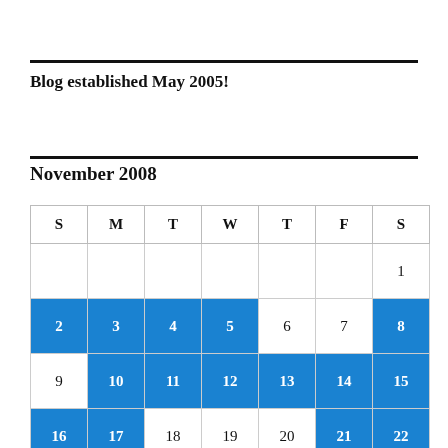Blog established May 2005!
November 2008
| S | M | T | W | T | F | S |
| --- | --- | --- | --- | --- | --- | --- |
|  |  |  |  |  |  | 1 |
| 2 | 3 | 4 | 5 | 6 | 7 | 8 |
| 9 | 10 | 11 | 12 | 13 | 14 | 15 |
| 16 | 17 | 18 | 19 | 20 | 21 | 22 |